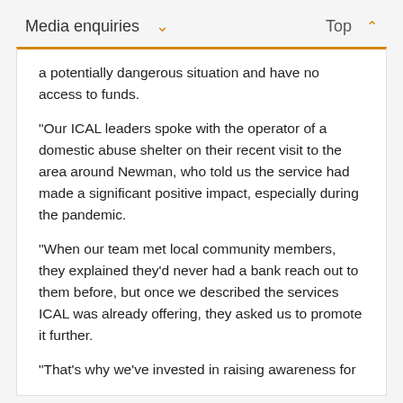Media enquiries  ∨                                    Top ∧
a potentially dangerous situation and have no access to funds.
“Our ICAL leaders spoke with the operator of a domestic abuse shelter on their recent visit to the area around Newman, who told us the service had made a significant positive impact, especially during the pandemic.
“When our team met local community members, they explained they’d never had a bank reach out to them before, but once we described the services ICAL was already offering, they asked us to promote it further.
“That’s why we’ve invested in raising awareness for